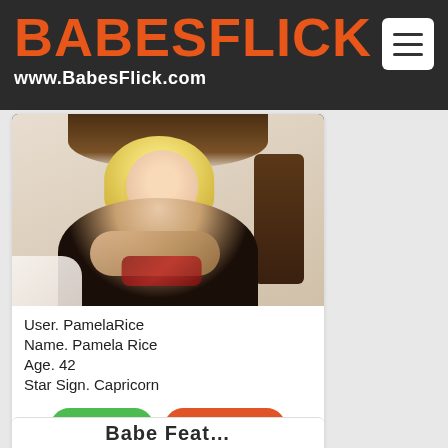BABESFLICK www.BabesFlick.com
[Figure (photo): Profile photo of a blonde woman in a black corset seated in front of a wooden headboard]
User. PamelaRice
Name. Pamela Rice
Age. 42
Star Sign. Capricorn
CHAT »   PROFILE »